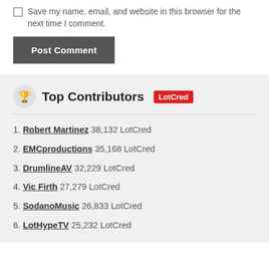Save my name, email, and website in this browser for the next time I comment.
Post Comment
Top Contributors LotCred
1. Robert Martinez 38,132 LotCred
2. EMCproductions 35,168 LotCred
3. DrumlineAV 32,229 LotCred
4. Vic Firth 27,279 LotCred
5. SodanoMusic 26,833 LotCred
6. LotHypeTV 25,232 LotCred